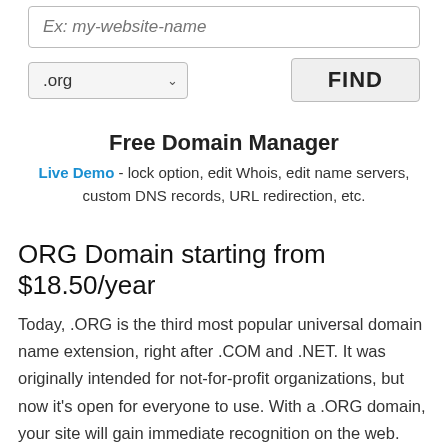[Figure (screenshot): A web form input field with placeholder text 'Ex: my-website-name', a dropdown selector showing '.org', and a 'FIND' button]
Free Domain Manager
Live Demo - lock option, edit Whois, edit name servers, custom DNS records, URL redirection, etc.
ORG Domain starting from $18.50/year
Today, .ORG is the third most popular universal domain name extension, right after .COM and .NET. It was originally intended for not-for-profit organizations, but now it's open for everyone to use. With a .ORG domain, your site will gain immediate recognition on the web. And you can get a dot ORG domain name from YTS Host at a moderate price. If you do that, you will exert absolute authority over your domain name. If you already have registered a dot ORG domain name, you can simply make use of the domain name